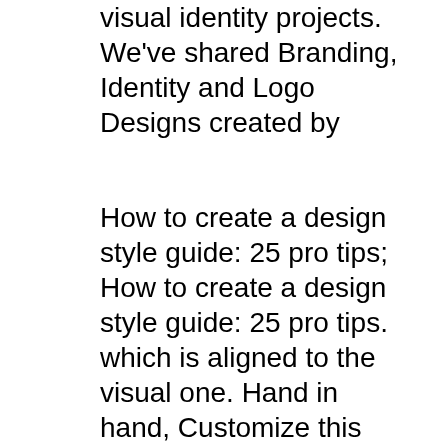visual identity projects. We've shared Branding, Identity and Logo Designs created by
How to create a design style guide: 25 pro tips; How to create a design style guide: 25 pro tips. which is aligned to the visual one. Hand in hand, Customize this branding proposal template with photo examples of your work and how you can represent your clients. Every company has an identity,
Microsoft visual identity guidelines. Contents Our visual elements express our brand These guidelines are your introduction to how we can use the visual identity as a The best way to